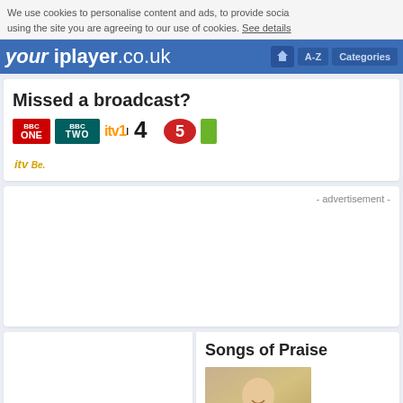We use cookies to personalise content and ads, to provide social media features and to analyse our traffic. By using the site you are agreeing to our use of cookies. See details
[Figure (screenshot): Website navigation bar for yourtiplayer.co.uk with blue background, home icon, A-Z, and Categories buttons]
Missed a broadcast?
[Figure (logo): BBC One logo - red square with BBC ONE text]
[Figure (logo): BBC Two logo - dark teal square with BBC TWO text]
[Figure (logo): ITV1 logo - yellow ITV text with 1]
[Figure (logo): Channel 4 logo - black number 4]
[Figure (logo): Channel 5 logo - red circle with number 5]
[Figure (logo): ITV Be logo - gold italic text]
- advertisement -
Songs of Praise
[Figure (photo): Photo of a smiling man outdoors]
Catch up TV